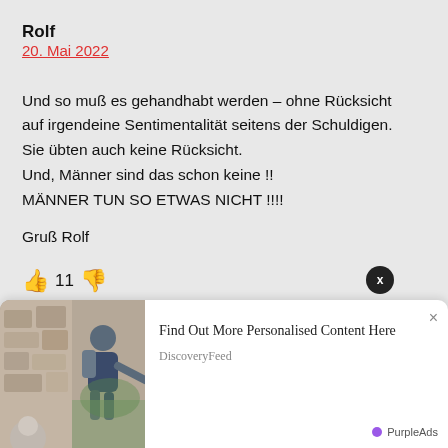Rolf
20. Mai 2022
Und so muß es gehandhabt werden – ohne Rücksicht auf irgendeine Sentimentalität seitens der Schuldigen. Sie übten auch keine Rücksicht.
Und, Männer sind das schon keine !!
MÄNNER TUN SO ETWAS NICHT !!!!
Gruß Rolf
👍 11 👎
[Figure (screenshot): Advertisement banner: 'Find Out More Personalised Content Here' by DiscoveryFeed / PurpleAds, with image of hiker reaching out hand]
Find Out More Personalised Content Here
DiscoveryFeed
PurpleAds